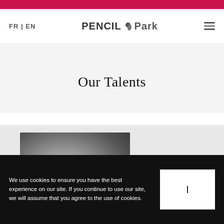FR | EN   PENCIL Park   ☰
Our Talents
[Figure (photo): Grayscale gradient placeholder photo for talent profile, partially overlapped by pink name card]
Frédéric Berria
We use cookies to ensure you have the best experience on our site. If you continue to use our site, we will assume that you agree to the use of cookies.